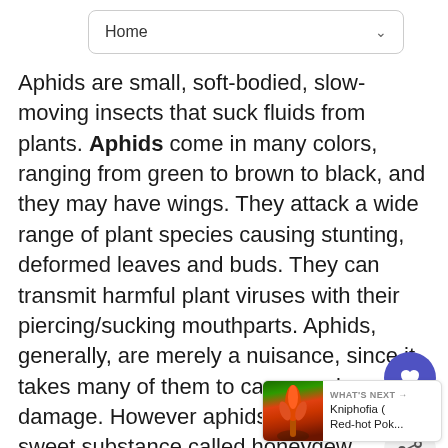Home
Aphids are small, soft-bodied, slow-moving insects that suck fluids from plants. Aphids come in many colors, ranging from green to brown to black, and they may have wings. They attack a wide range of plant species causing stunting, deformed leaves and buds. They can transmit harmful plant viruses with their piercing/sucking mouthparts. Aphids, generally, are merely a nuisance, since it takes many of them to cause serious plant damage. However aphids do produce a sweet substance called honeydew (coveted by ants) which can lead to an unattractive black growth called sooty mold.
[Figure (illustration): UI overlay showing a heart/favorite button (purple circle with white heart icon) and a share button, with count badge showing '1']
[Figure (illustration): What's Next panel showing a red-hot poker plant image thumbnail with text 'WHAT'S NEXT → Kniphofia ( Red-hot Pok...']